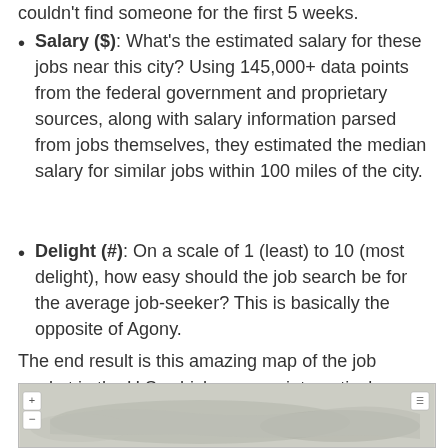couldn't find someone for the first 5 weeks.
Salary ($): What's the estimated salary for these jobs near this city? Using 145,000+ data points from the federal government and proprietary sources, along with salary information parsed from jobs themselves, they estimated the median salary for similar jobs within 100 miles of the city.
Delight (#): On a scale of 1 (least) to 10 (most delight), how easy should the job search be for the average job-seeker? This is basically the opposite of Agony.
The end result is this amazing map of the job market in the U.S, which you can interactively explore here to see where you could best start your next job hunt.
[Figure (map): Interactive map of the U.S. job market, partially visible at the bottom of the page.]